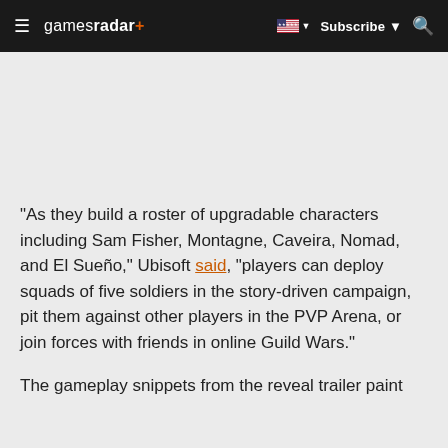gamesradar+ Subscribe
"As they build a roster of upgradable characters including Sam Fisher, Montagne, Caveira, Nomad, and El Sueño," Ubisoft said, "players can deploy squads of five soldiers in the story-driven campaign, pit them against other players in the PVP Arena, or join forces with friends in online Guild Wars."
The gameplay snippets from the reveal trailer paint